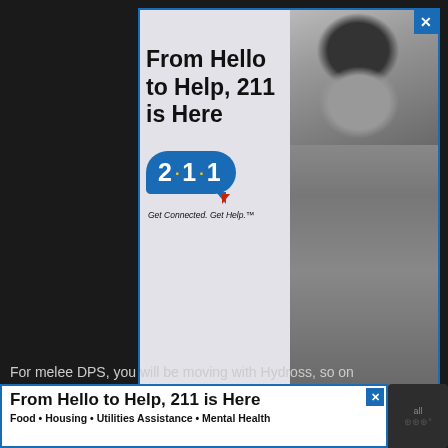[Figure (screenshot): Screenshot of a webpage with a dark background showing a 211 public service advertisement banner. The top ad features the text 'From Hello to Help, 211 is Here' alongside a black and white photo of a young woman in a jean jacket, and the 211 logo speech bubble with the tagline 'Get Connected. Get Help.' A bottom banner ad repeats 'From Hello to Help, 211 is Here' with sub-text 'Food • Housing • Utilities Assistance • Mental Health'. The page also shows partial website text and UI elements including a menu icon and scroll button.]
From Hello to Help, 211 is Here
Get Connected. Get Help.™
For melee DPS, you will be moving with Hydross, so on
From Hello to Help, 211 is Here
Food • Housing • Utilities Assistance • Mental Health